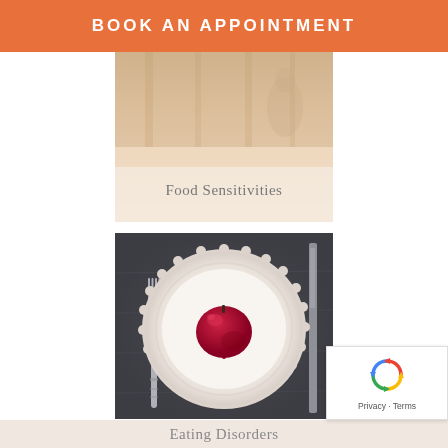BOOK AN APPOINTMENT
Food Sensitivities
[Figure (photo): Overhead view of a white decorative plate with scalloped edges on a dark slate background, a red apple in the center, with a fork on the left and knife on the right sides]
Eating Disorders
[Figure (logo): Google reCAPTCHA badge with spinning arrows icon and Privacy · Terms text]